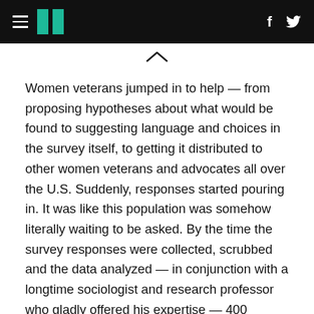HuffPost navigation header with hamburger menu, logo, Facebook and Twitter icons
Women veterans jumped in to help — from proposing hypotheses about what would be found to suggesting language and choices in the survey itself, to getting it distributed to other women veterans and advocates all over the U.S. Suddenly, responses started pouring in. It was like this population was somehow literally waiting to be asked. By the time the survey responses were collected, scrubbed and the data analyzed — in conjunction with a longtime sociologist and research professor who gladly offered his expertise — 400 women veterans from every era, every branch of service, every race and